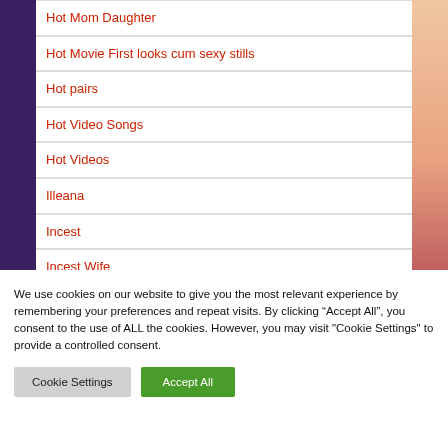Hot Mom Daughter
Hot Movie First looks cum sexy stills
Hot pairs
Hot Video Songs
Hot Videos
Illeana
Incest
Incest Wife
We use cookies on our website to give you the most relevant experience by remembering your preferences and repeat visits. By clicking “Accept All”, you consent to the use of ALL the cookies. However, you may visit "Cookie Settings" to provide a controlled consent.
Cookie Settings | Accept All